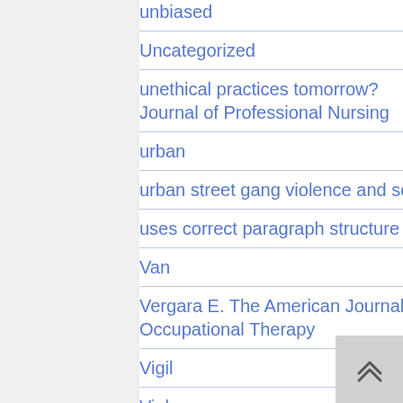unbiased
Uncategorized
unethical practices tomorrow? Journal of Professional Nursing
urban
urban street gang violence and social
uses correct paragraph structure
Van
Vergara E. The American Journal of Occupational Therapy
Vigil
Violence
violence against a specific targetâ€“a
were reported.